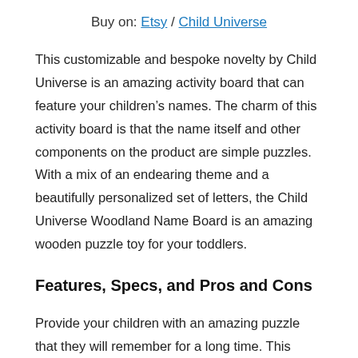Buy on: Etsy / Child Universe
This customizable and bespoke novelty by Child Universe is an amazing activity board that can feature your children's names. The charm of this activity board is that the name itself and other components on the product are simple puzzles. With a mix of an endearing theme and a beautifully personalized set of letters, the Child Universe Woodland Name Board is an amazing wooden puzzle toy for your toddlers.
Features, Specs, and Pros and Cons
Provide your children with an amazing puzzle that they will remember for a long time. This elegant woodland-themed activity board can highlight the letters of your